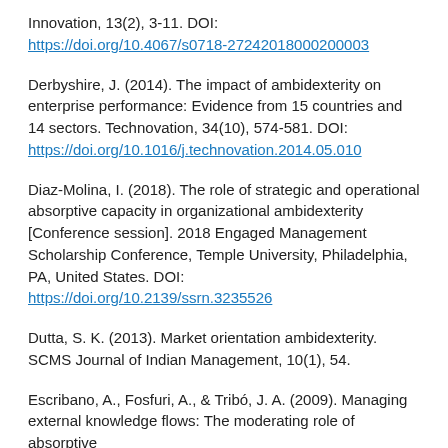Innovation, 13(2), 3-11. DOI: https://doi.org/10.4067/s0718-27242018000200003
Derbyshire, J. (2014). The impact of ambidexterity on enterprise performance: Evidence from 15 countries and 14 sectors. Technovation, 34(10), 574-581. DOI: https://doi.org/10.1016/j.technovation.2014.05.010
Diaz-Molina, I. (2018). The role of strategic and operational absorptive capacity in organizational ambidexterity [Conference session]. 2018 Engaged Management Scholarship Conference, Temple University, Philadelphia, PA, United States. DOI: https://doi.org/10.2139/ssrn.3235526
Dutta, S. K. (2013). Market orientation ambidexterity. SCMS Journal of Indian Management, 10(1), 54.
Escribano, A., Fosfuri, A., & Tribó, J. A. (2009). Managing external knowledge flows: The moderating role of absorptive